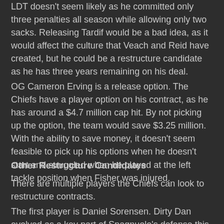LDT doesn't seem likely as he committed only three penalties all season while allowing only two sacks. Releasing Tardif would be a bad idea, as it would affect the culture that Veach and Reid have created, but he could be a restructure candidate as he has three years remaining on his deal.
OG Cameron Erving is a release option. The Chiefs have a player option on his contract, as he has around a $4.7 million cap hit. By not picking up the option, the team would save $3.25 million. With the ability to save money, it doesn't seem feasible to pick up his options when he doesn't start and struggled when he played at the left tackle position when Fisher was injured.
Other Restructure Candidates
There are multiple players the Chiefs can look to restructure contracts.
The first player is Daniel Sorensen. Dirty Dan evolved as a key part of Spagnuolo's defense this season. Sorensen made a game-changing open-field tackle on the fake punt against the Texans in